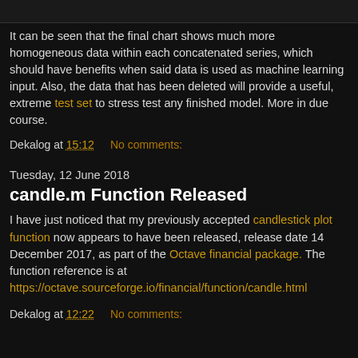[Figure (screenshot): Top portion of a screenshot/image, showing a dark chart or plot]
It can be seen that the final chart shows much more homogeneous data within each concatenated series, which should have benefits when said data is used as machine learning input. Also, the data that has been deleted will provide a useful, extreme test set to stress test any finished model. More in due course.
Dekalog at 15:12    No comments:
Tuesday, 12 June 2018
candle.m Function Released
I have just noticed that my previously accepted candlestick plot function now appears to have been released, release date 14 December 2017, as part of the Octave financial package. The function reference is at https://octave.sourceforge.io/financial/function/candle.html
Dekalog at 12:22    No comments: